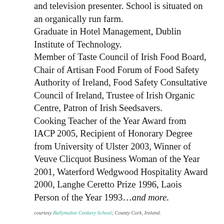and television presenter. School is situated on an organically run farm. Graduate in Hotel Management, Dublin Institute of Technology. Member of Taste Council of Irish Food Board, Chair of Artisan Food Forum of Food Safety Authority of Ireland, Food Safety Consultative Council of Ireland, Trustee of Irish Organic Centre, Patron of Irish Seedsavers. Cooking Teacher of the Year Award from IACP 2005, Recipient of Honorary Degree from University of Ulster 2003, Winner of Veuve Clicquot Business Woman of the Year 2001, Waterford Wedgwood Hospitality Award 2000, Langhe Ceretto Prize 1996, Laois Person of the Year 1993…and more.
courtesy Ballymaloe Cookery School; County Cork, Ireland.